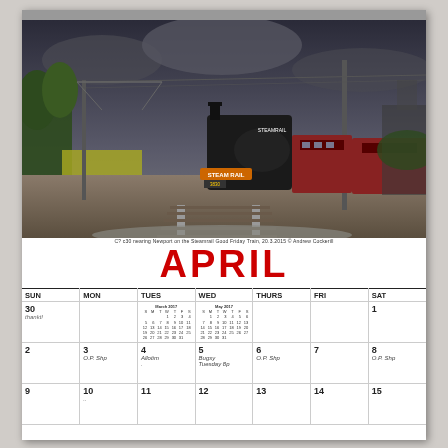[Figure (photo): Steam locomotive pulling red passenger carriages along railway tracks under dramatic cloudy sky. The locomotive is black with 'Steam Rail' signage displayed. Electric poles and gantries visible. Taken at Newport, the Steam Good Friday Train, 20.3.2015, Andrew Cockerill.]
C? c30 nearing Newport on the Steamrail Good Friday Train, 20.3.2015 © Andrew Cockerill
APRIL
| SUN | MON | TUES | WED | THURS | FRI | SAT |
| --- | --- | --- | --- | --- | --- | --- |
| 30 [handwritten note] |  | [March 2017 mini-cal] [May 2017 mini-cal] |  |  |  | 1 |
| 2 | 3 [O.P. Shp] | 4 [Allotim] | 5 [Bugsy / handwritten] | 6 [O.P. Shp] | 7 | 8 [O.P. Shp] |
| 9 | 10 .. | 11 | 12 | 13 | 14 | 15 |